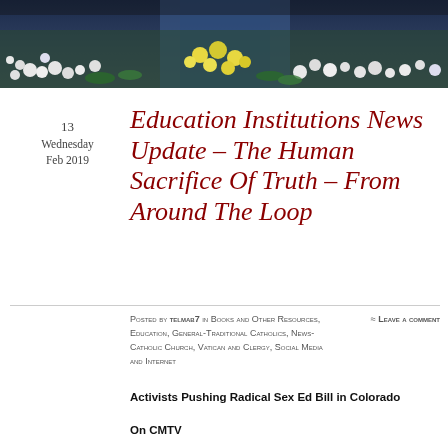[Figure (photo): Header photo showing flowers and floral arrangement with blue and white and yellow blooms against a dark background]
13
Wednesday
Feb 2019
Education Institutions News Update – The Human Sacrifice Of Truth – From Around The Loop
Posted by telmab7 in Books and Other Resources, Education, General-Traditional Catholics, News-Catholic Church, Vatican and Clergy, Social Media and Internet
≈ Leave a comment
Activists Pushing Radical Sex Ed Bill in Colorado
On CMTV